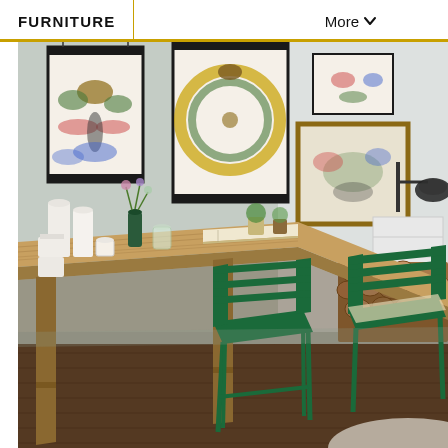FURNITURE
More
[Figure (photo): Interior room photo showing a long rustic wooden table/desk against a sage green wall, decorated with vintage natural history posters (insects, snakes). Green metal chairs are tucked under the table. White pillar candles, small flower vases, and books are on the table. A stack of firewood logs sits against the wall in the background. A desk lamp with black shade is visible. Wood plank flooring and a white fluffy rug in the corner.]